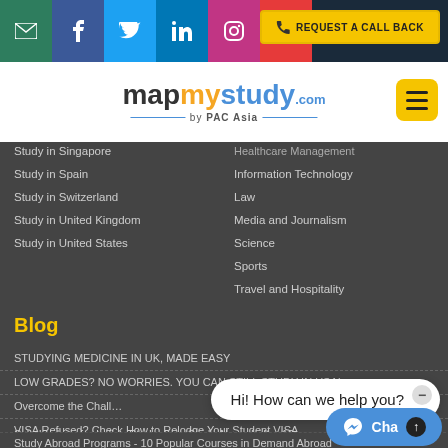[Figure (screenshot): Social media icon bar with email, Facebook, Twitter, LinkedIn, Instagram, YouTube icons and a yellow 'Request a Call Back' button]
[Figure (logo): MapMyStudy.com by PAC Asia logo with hamburger menu button]
Study in Singapore
Study in Spain
Study in Switzerland
Study in United Kingdom
Study in United States
Healthcare Management
Information Technology
Law
Media and Journalism
Science
Sports
Travel and Hospitality
Blog
STUDYING MEDICINE IN UK, MADE EASY
LOW GRADES? NO WORRIES. YOU CAN STILL STUDY IN USA!
Overcome the Chall…
VISA Refused? Check How to Relodge Your Student VISA
Scholarships for Indian Students to Study Abroad after 12…
Study Abroad Programs - 10 Popular Courses in Demand Abroad
Hi! How can we help you?